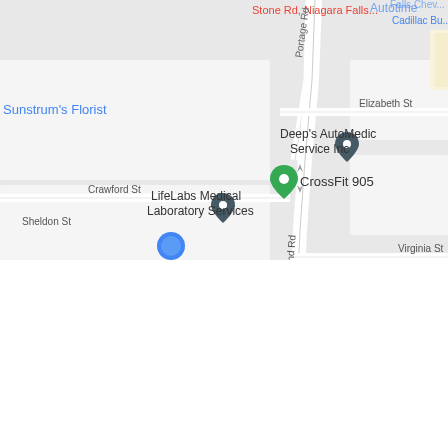[Figure (map): Google Maps screenshot showing a street map of Niagara Falls area. Streets visible include Portage Rd, Drummond Rd, Carroll Ave, Elizabeth St, Crawford St, Virginia St, and Sheldon St. Points of interest labeled include Sunstrum's Florist (blue text, top left), Stone Rd Niagara Falls (red text, top center-right), Cadillac Bu... (blue, top right), Deep's AutoMedic Service Inc (with dark teal map pin), CrossFit 905 (with green map pin), LifeLabs Medical Laboratory Services (with dark teal map pin), and a partial blue circle/icon at the bottom center. The map background is light gray with white road lines. Bottom half of the page (below the map) is white/blank.]